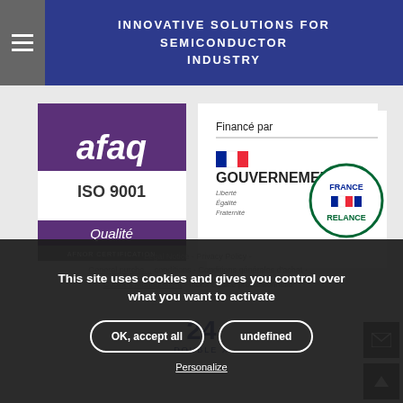INNOVATIVE SOLUTIONS FOR SEMICONDUCTOR INDUSTRY
[Figure (logo): AFAQ ISO 9001 Qualité certification logo with purple background, AFNOR CERTIFICATION text at bottom]
[Figure (logo): Financé par GOUVERNEMENT badge with French flag and France Relance circular logo]
This site uses cookies and gives you control over what you want to activate
OK, accept all
undefined
Personalize